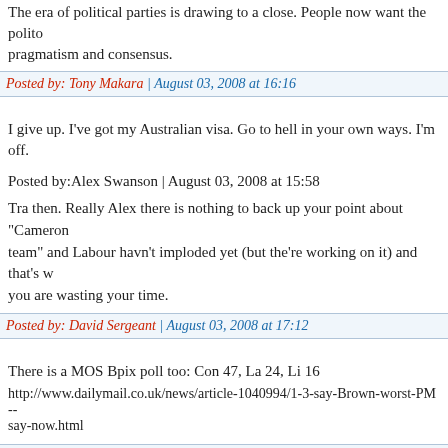The era of political parties is drawing to a close. People now want the pragmatism and consensus.
Posted by: Tony Makara | August 03, 2008 at 16:16
I give up. I've got my Australian visa. Go to hell in your own ways. I'm off.
Posted by: Alex Swanson | August 03, 2008 at 15:58
Tra then. Really Alex there is nothing to back up your point about "Cameron team" and Labour havn't imploded yet (but the're working on it) and that's w you are wasting your time.
Posted by: David Sergeant | August 03, 2008 at 17:12
There is a MOS Bpix poll too: Con 47, La 24, Li 16
http://www.dailymail.co.uk/news/article-1040994/1-3-say-Brown-worst-PM-- say-now.html
Posted by: Conand | August 03, 2008 at 17:14
(Tony Makara @ 1616: "Political parties only serve to divide our nation. W